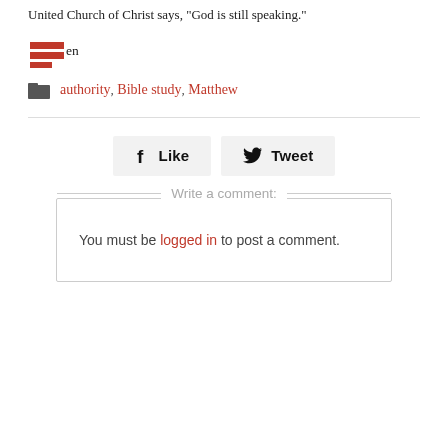United Church of Christ says, "God is still speaking."
Amen
authority, Bible study, Matthew
[Figure (illustration): Like button with Facebook f icon]
[Figure (illustration): Tweet button with Twitter bird icon]
Write a comment:
You must be logged in to post a comment.